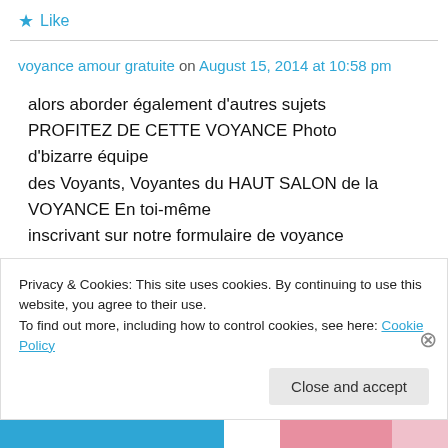★ Like
voyance amour gratuite on August 15, 2014 at 10:58 pm
alors aborder également d'autres sujets PROFITEZ DE CETTE VOYANCE Photo d'bizarre équipe des Voyants, Voyantes du HAUT SALON de la VOYANCE En toi-même inscrivant sur notre formulaire de voyance
Privacy & Cookies: This site uses cookies. By continuing to use this website, you agree to their use.
To find out more, including how to control cookies, see here: Cookie Policy